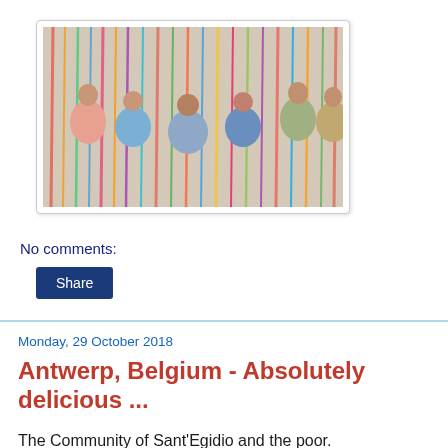[Figure (photo): Group of women posing in front of colorful hanging ribbons/streamers decoration]
No comments:
Share
Monday, 29 October 2018
Antwerp, Belgium - Absolutely delicious ...
The Community of Sant'Egidio and the poor.
A special menu at "Kamiano" soup kitchen, evenings ago, with the "Jacquemant", a Belgian confectionery specialty,